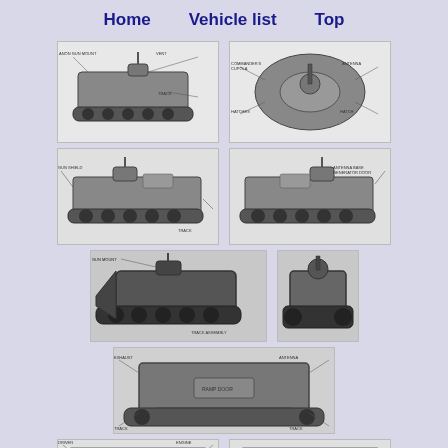Home    Vehicle list    Top
[Figure (engineering-diagram): M113 APC side/front perspective view with labeled components, black and white technical illustration]
[Figure (engineering-diagram): M113 APC top-down/rear view with labeled components, black and white technical illustration]
[Figure (engineering-diagram): M113 APC left side profile view with labeled components, black and white technical illustration]
[Figure (engineering-diagram): M113 APC right side profile view with labeled components, black and white technical illustration]
[Figure (engineering-diagram): M113 APC three-quarter front view dark photo with labeled components]
[Figure (engineering-diagram): M113 APC front-top close-up view with labeled components]
[Figure (engineering-diagram): M113 APC rear view with labeled components, black and white technical illustration]
[Figure (engineering-diagram): M113 APC interior top-down diagram with labeled components, left side]
[Figure (engineering-diagram): M113 APC interior top-down diagram with labeled components, right side]